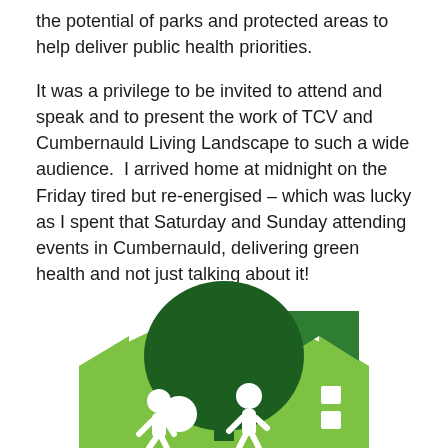the potential of parks and protected areas to help deliver public health priorities.
It was a privilege to be invited to attend and speak and to present the work of TCV and Cumbernauld Living Landscape to such a wide audience.  I arrived home at midnight on the Friday tired but re-energised – which was lucky as I spent that Saturday and Sunday attending events in Cumbernauld, delivering green health and not just talking about it!
[Figure (illustration): Green and dark green illustration of a house silhouette with a large tree and two human silhouettes (people playing) in the foreground. White window shapes on the house. Cumbernauld Living Landscape logo style graphic.]